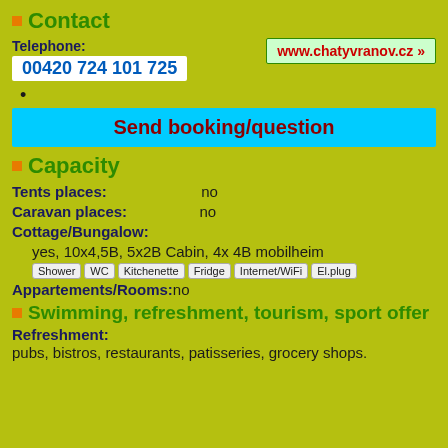Contact
Telephone: 00420 724 101 725
www.chatyvranov.cz »
•
Send booking/question
Capacity
Tents places: no
Caravan places: no
Cottage/Bungalow: yes, 10x4,5B, 5x2B Cabin, 4x 4B mobilheim
Shower WC Kitchenette Fridge Internet/WiFi El.plug
Appartements/Rooms: no
Swimming, refreshment, tourism, sport offer
Refreshment:
pubs, bistros, restaurants, patisseries, grocery shops.